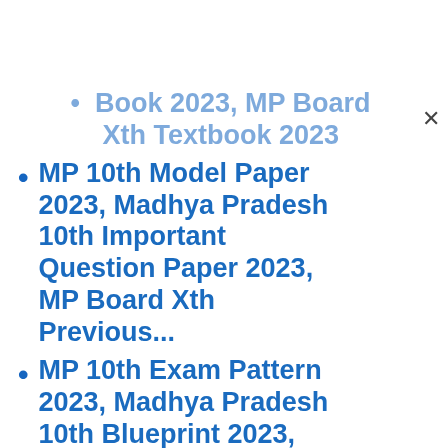Book 2023, MP Board Xth Textbook 2023
MP 10th Model Paper 2023, Madhya Pradesh 10th Important Question Paper 2023, MP Board Xth Previous...
MP 10th Exam Pattern 2023, Madhya Pradesh 10th Blueprint 2023, MP Board Xth Marking Scheme 2023